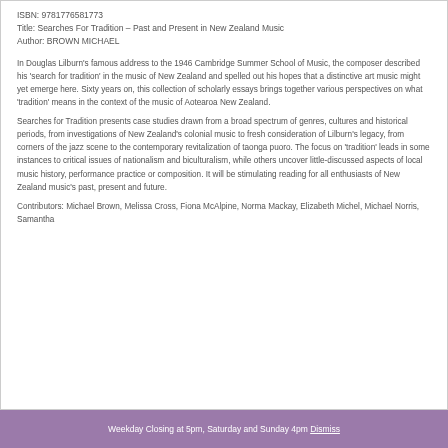ISBN: 9781776581773
Title: Searches For Tradition – Past and Present in New Zealand Music
Author: BROWN MICHAEL
In Douglas Lilburn's famous address to the 1946 Cambridge Summer School of Music, the composer described his 'search for tradition' in the music of New Zealand and spelled out his hopes that a distinctive art music might yet emerge here. Sixty years on, this collection of scholarly essays brings together various perspectives on what 'tradition' means in the context of the music of Aotearoa New Zealand.
Searches for Tradition presents case studies drawn from a broad spectrum of genres, cultures and historical periods, from investigations of New Zealand's colonial music to fresh consideration of Lilburn's legacy, from corners of the jazz scene to the contemporary revitalization of taonga puoro. The focus on 'tradition' leads in some instances to critical issues of nationalism and biculturalism, while others uncover little-discussed aspects of local music history, performance practice or composition. It will be stimulating reading for all enthusiasts of New Zealand music's past, present and future.
Contributors: Michael Brown, Melissa Cross, Fiona McAlpine, Norma Mackay, Elizabeth Michel, Michael Norris, Samantha...
Weekday Closing at 5pm, Saturday and Sunday 4pm Dismiss